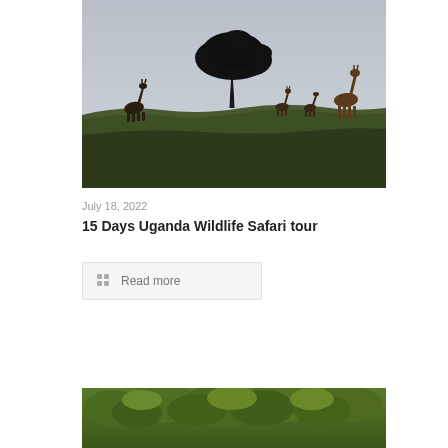[Figure (photo): Safari landscape photo showing giraffes on a grassy savanna with a large acacia tree silhouetted against a grey sky]
July 18, 2022
15 Days Uganda Wildlife Safari tour
Read more
[Figure (photo): Second safari photo showing dense green bush/vegetation, partially cropped at bottom of page]